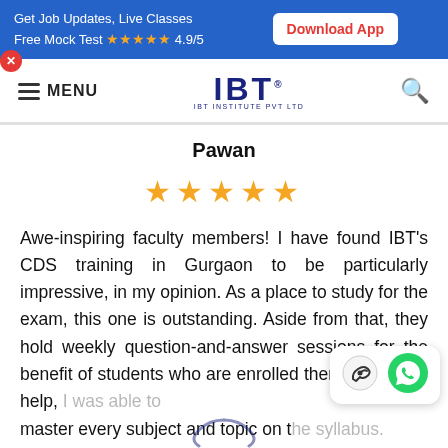Get Job Updates, Live Classes Free Mock Test ★★★★★ 4.9/5  Download App
≡ MENU  IBT IBT INSTITUTE PVT LTD  🔍
Pawan
[Figure (other): Five orange star rating icons]
Awe-inspiring faculty members! I have found IBT's CDS training in Gurgaon to be particularly impressive, in my opinion. As a place to study for the exam, this one is outstanding. Aside from that, they hold weekly question-and-answer sessions for the benefit of students who are enrolled there. With their help, I was able to master every subject and topic on t